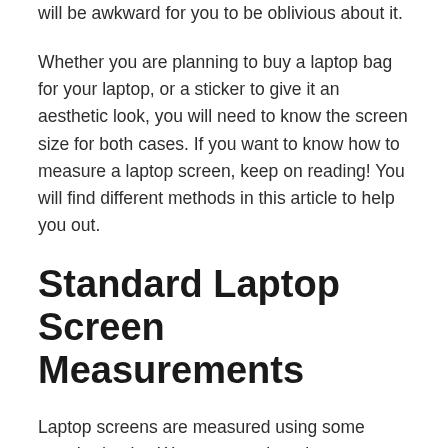will be awkward for you to be oblivious about it.
Whether you are planning to buy a laptop bag for your laptop, or a sticker to give it an aesthetic look, you will need to know the screen size for both cases. If you want to know how to measure a laptop screen, keep on reading! You will find different methods in this article to help you out.
Standard Laptop Screen Measurements
Laptop screens are measured using some standard units. We measure them in